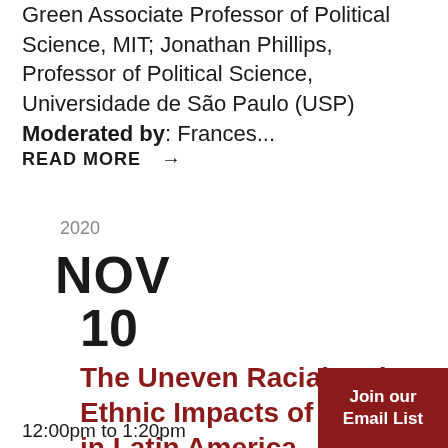Green Associate Professor of Political Science, MIT; Jonathan Phillips, Professor of Political Science, Universidade de São Paulo (USP)
Moderated by: Frances...
READ MORE →
2020
NOV
10
The Uneven Racial and Ethnic Impacts of COVID in Latin America
12:00pm to 1:20pm
Join our Email List